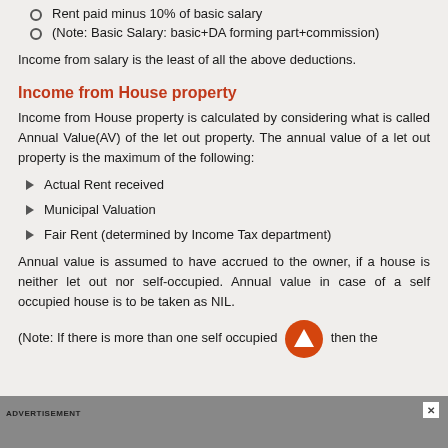Rent paid minus 10% of basic salary
(Note: Basic Salary: basic+DA forming part+commission)
Income from salary is the least of all the above deductions.
Income from House property
Income from House property is calculated by considering what is called Annual Value(AV) of the let out property. The annual value of a let out property is the maximum of the following:
Actual Rent received
Municipal Valuation
Fair Rent (determined by Income Tax department)
Annual value is assumed to have accrued to the owner, if a house is neither let out nor self-occupied. Annual value in case of a self occupied house is to be taken as NIL.
(Note: If there is more than one self occupied [arrow] then the
ADVERTISEMENT